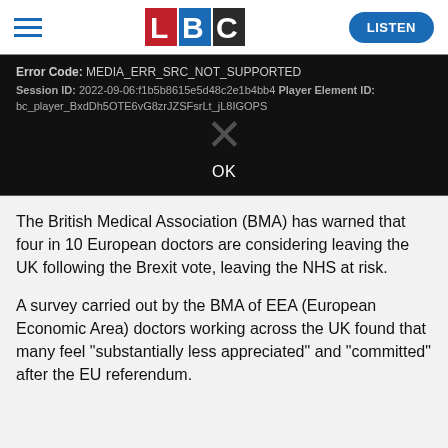[Figure (logo): LBC radio logo with hamburger menu and LISTEN button]
[Figure (screenshot): Video player error screen showing: Error Code: MEDIA_ERR_SRC_NOT_SUPPORTED, Session ID: 2022-09-06:f1b5b8615e5d48c2e1b4bb4 Player Element ID: bc_player_BxdDh5OTE6vG8zrJZSFsrLt_jL8IGOPS, with an X mark and OK button]
The British Medical Association (BMA) has warned that four in 10 European doctors are considering leaving the UK following the Brexit vote, leaving the NHS at risk.
A survey carried out by the BMA of EEA (European Economic Area) doctors working across the UK found that many feel "substantially less appreciated" and "committed" after the EU referendum.